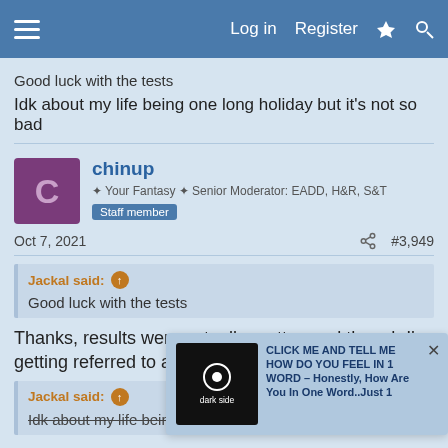Log in  Register
Good luck with the tests
Idk about my life being one long holiday but it's not so bad
chinup
✦ Your Fantasy ✦ Senior Moderator: EADD, H&R, S&T  Staff member
Oct 7, 2021  #3,949
Jackal said: ↑
Good luck with the tests
Thanks, results were actually pretty good though I'm getting referred to a physio cos I over breathe.
Jackal said: ↑
Idk about my life being one long holiday but it's not so bad
[Figure (screenshot): Ad overlay with dark side thumbnail image. Text: CLICK ME AND TELL ME HOW DO YOU FEEL IN 1 WORD – Honestly, How Are You In One Word..Just 1]